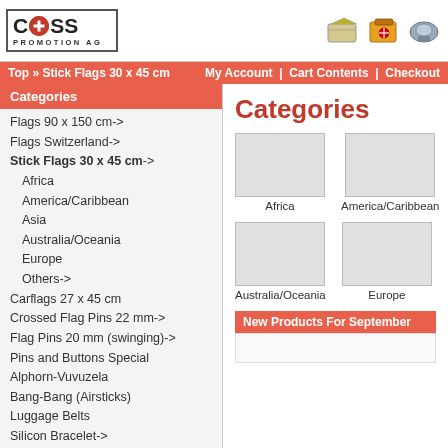[Figure (logo): Cross Promotion AG logo with Swiss cross icon in red circle]
[Figure (illustration): Three small icon images for navigation (papers, briefcase, machine)]
Top » Stick Flags 30 x 45 cm    My Account | Cart Contents | Checkout
Categories
Flags 90 x 150 cm->
Flags Switzerland->
Stick Flags 30 x 45 cm->
Africa
America/Caribbean
Asia
Australia/Oceania
Europe
Others->
Carflags 27 x 45 cm
Crossed Flag Pins 22 mm->
Flag Pins 20 mm (swinging)->
Pins and Buttons Special
Alphorn-Vuvuzela
Bang-Bang (Airsticks)
Luggage Belts
Silicon Bracelet->
Crossed Flag Lanyards->
Felt Keychains
Accessory for Lanyards
Lanyards blank->
Lanyards Switzerland
Paperclips->
Categories
[Figure (other): Africa flag category placeholder image]
Africa
[Figure (other): America/Caribbean flag category placeholder image]
America/Caribbean
[Figure (other): Australia/Oceania flag category placeholder image]
Australia/Oceania
[Figure (other): Europe flag category placeholder image]
Europe
New Products For September